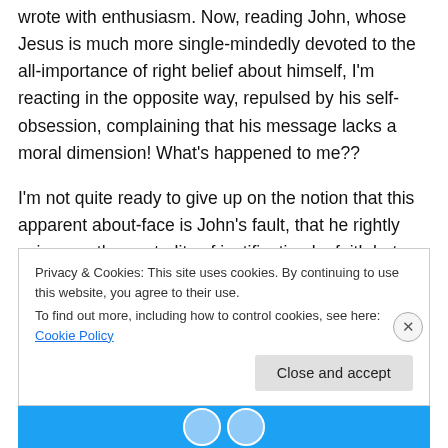wrote with enthusiasm. Now, reading John, whose Jesus is much more single-mindedly devoted to the all-importance of right belief about himself, I'm reacting in the opposite way, repulsed by his self-obsession, complaining that his message lacks a moral dimension! What's happened to me??
I'm not quite ready to give up on the notion that this apparent about-face is John's fault, that he rightly seizes on the centrality of justification by faith but then somehow runs off the rails with it.
Privacy & Cookies: This site uses cookies. By continuing to use this website, you agree to their use.
To find out more, including how to control cookies, see here: Cookie Policy
Close and accept